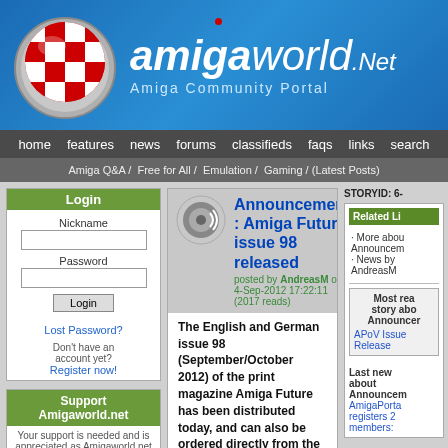[Figure (screenshot): AmigaWorld.net website header with logo ball (red/white checkered pattern on a gear), site name 'amigaworld.Net' in white italic text, subtitle 'Amiga Community Portal' on blue gradient background]
home  features  news  forums  classifieds  faqs  links  search
Amiga Q&A /  Free for All /  Emulation /  Gaming / (Latest Posts)
Login
Nickname
Password
Login
Lost Password?
Don't have an account yet?
Register now!
Support Amigaworld.net
Your support is needed and is appreciated as Amigaworld.net is primarily dependent upon the support of its users.
Announcement : Amiga Future issue 98 released
posted by AndreasM on 4-Sep-2012 17:22:11 (2017 reads)
The English and German issue 98 (September/October 2012) of the print magazine Amiga Future has been distributed today, and can also be ordered directly from the editorial office of Amiga Future, and the other Amiga dealers that stock the magazine.
From from the issue 94 the Amiga Future magazines will be printed in full colour.
Mag Content:
STORYID: 6-
Related Li
· More about Announceme
· News by AndreasM
Most read story about Announcem
APoV Issue Release
Last news about Announcemen
AmigaPortal registers 2 members: